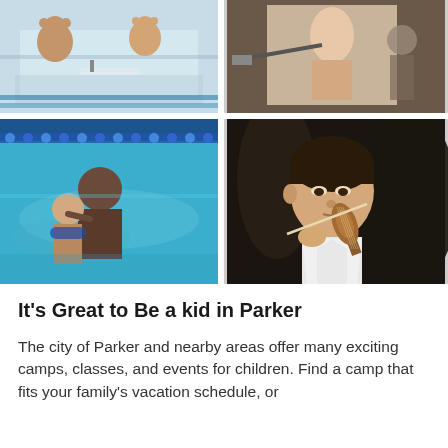[Figure (photo): Top-left photo: children's craft activity with teddy bears and supplies on a table in what appears to be an indoor setting]
[Figure (photo): Top-right photo: person working on a large painting or artwork, close-up of canvas]
[Figure (photo): Bottom-left photo: swimming lesson in a pool — an adult instructor helping a young child in the water near a blue lane rope]
[Figure (photo): Bottom-right photo: young boy (Asian) in a white shirt playing violin, concentrating on his instrument]
It's Great to Be a kid in Parker
The city of Parker and nearby areas offer many exciting camps, classes, and events for children. Find a camp that fits your family's vacation schedule, or